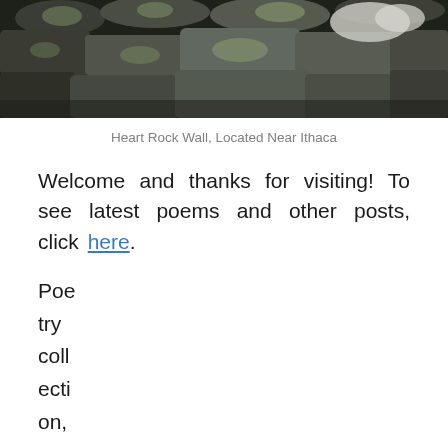[Figure (photo): Photo of a rock wall with stones and lichen, located near Ithaca. Dark stones arranged in a wall pattern, some with greenish lichen.]
Heart Rock Wall, Located Near Ithaca
Welcome and thanks for visiting! To see latest poems and other posts, click here.
Poetry collection, available from